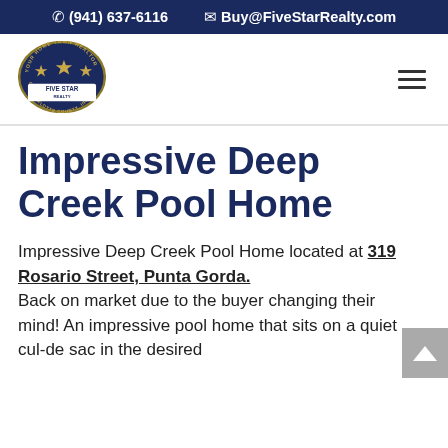(941) 637-6116   Buy@FiveStarRealty.com
[Figure (logo): Five Star Realty of Charlotte County, Inc. oval logo with gold stars and blue background]
Impressive Deep Creek Pool Home
Impressive Deep Creek Pool Home located at 319 Rosario Street, Punta Gorda. Back on market due to the buyer changing their mind! An impressive pool home that sits on a quiet cul-de sac in the desired